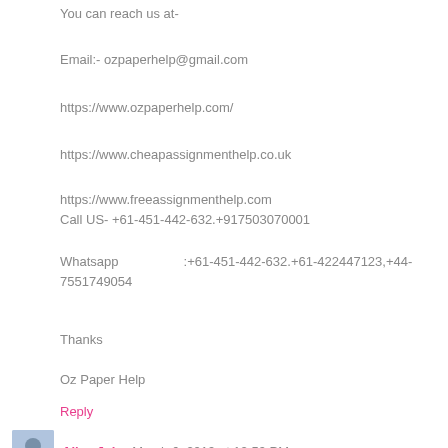You can reach us at-
Email:- ozpaperhelp@gmail.com
https://www.ozpaperhelp.com/
https://www.cheapassignmenthelp.co.uk
https://www.freeassignmenthelp.com
Call US- +61-451-442-632.+917503070001
Whatsapp                 :+61-451-442-632.+61-422447123,+44-7551749054
Thanks
Oz Paper Help
Reply
Alley John  March 6, 2019 at 12:59 PM